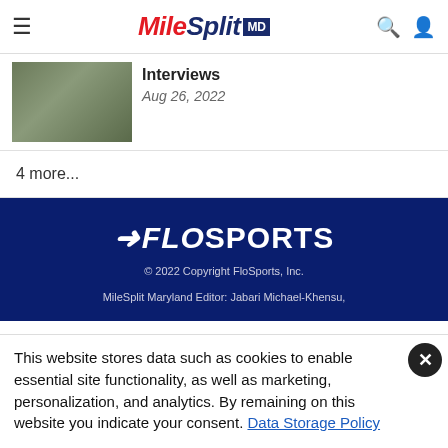MileSplit MD
Interviews
Aug 26, 2022
4 more...
[Figure (logo): FloSports logo in white on dark navy background]
© 2022 Copyright FloSports, Inc.
MileSplit Maryland Editor: Jabari Michael-Khensu,
This website stores data such as cookies to enable essential site functionality, as well as marketing, personalization, and analytics. By remaining on this website you indicate your consent. Data Storage Policy